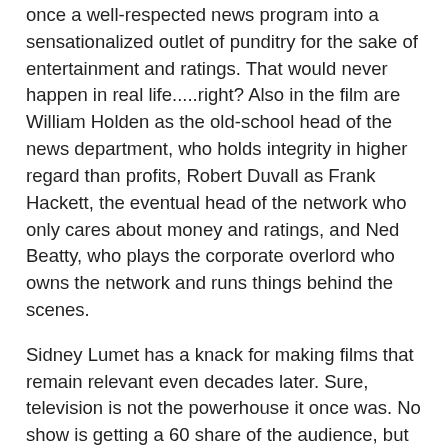once a well-respected news program into a sensationalized outlet of punditry for the sake of entertainment and ratings. That would never happen in real life.....right? Also in the film are William Holden as the old-school head of the news department, who holds integrity in higher regard than profits, Robert Duvall as Frank Hackett, the eventual head of the network who only cares about money and ratings, and Ned Beatty, who plays the corporate overlord who owns the network and runs things behind the scenes.
Sidney Lumet has a knack for making films that remain relevant even decades later. Sure, television is not the powerhouse it once was. No show is getting a 60 share of the audience, but that doesn't change the general ideas of "Network" that have absolutely come to fruition. Cable news shows, the internet, and radio are all loaded with Howard Beale-type people espousing opinion as if it were absolute truth. Sensationalism has overtaken every aspect of what once was news. Cable news shows and talk radio do whatever they can to get ratings. The internet is full of misleading clickbait headlines from websites that only care about how many clicks, views, shares, likes, and retweets